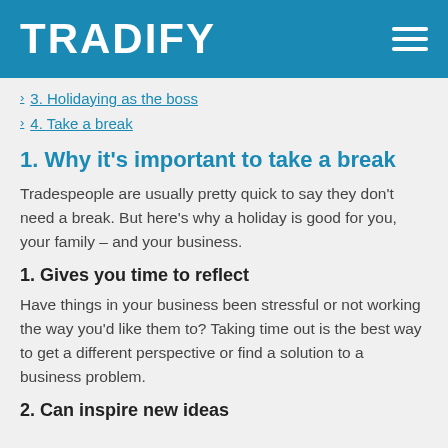TRADIFY
3. Holidaying as the boss
4. Take a break
1. Why it's important to take a break
Tradespeople are usually pretty quick to say they don't need a break. But here's why a holiday is good for you, your family – and your business.
1. Gives you time to reflect
Have things in your business been stressful or not working the way you'd like them to? Taking time out is the best way to get a different perspective or find a solution to a business problem.
2. Can inspire new ideas